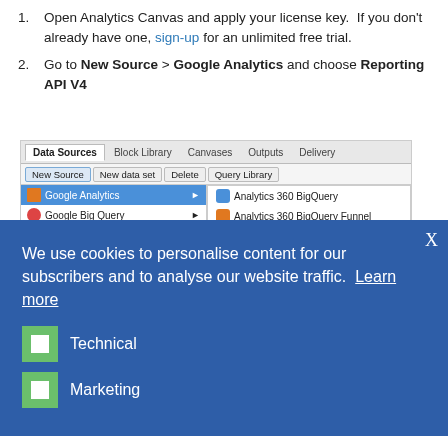Open Analytics Canvas and apply your license key. If you don't already have one, sign-up for an unlimited free trial.
Go to New Source > Google Analytics and choose Reporting API V4
[Figure (screenshot): Screenshot of Analytics Canvas showing Data Sources tab with New Source menu open, showing Google Analytics submenu with options including Analytics 360 BigQuery and Analytics 360 BigQuery Funnel]
We use cookies to personalise content for our subscribers and to analyse our website traffic. Learn more
Technical
Marketing
Save Settings